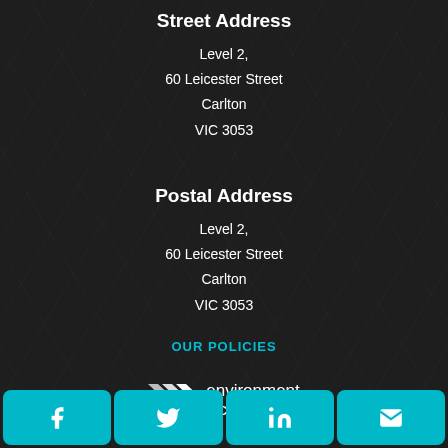Street Address
Level 2,
60 Leicester Street
Carlton
VIC 3053
Postal Address
Level 2,
60 Leicester Street
Carlton
VIC 3053
OUR POLICIES
[Figure (logo): Environment Victoria logo with chevron arrows and text 'environment victoria']
[Figure (infographic): Social share buttons bar: Facebook, Twitter, LinkedIn, Email — teal rounded rectangles]